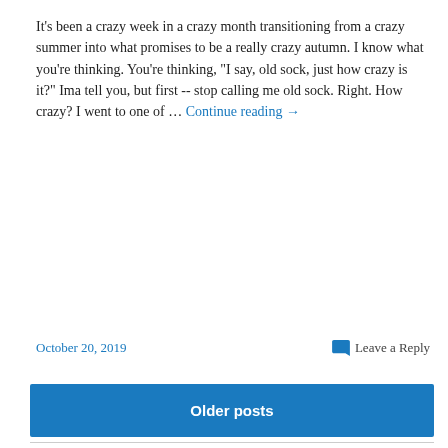It's been a crazy week in a crazy month transitioning from a crazy summer into what promises to be a really crazy autumn. I know what you're thinking. You're thinking, "I say, old sock, just how crazy is it?" Ima tell you, but first -- stop calling me old sock. Right. How crazy? I went to one of … Continue reading →
October 20, 2019
Leave a Reply
Older posts
Discovered
[Figure (logo): WordPress 'Featured on Discover' banner with WordPress logo on dark navy background, text reads FEATURED ON and Discover]